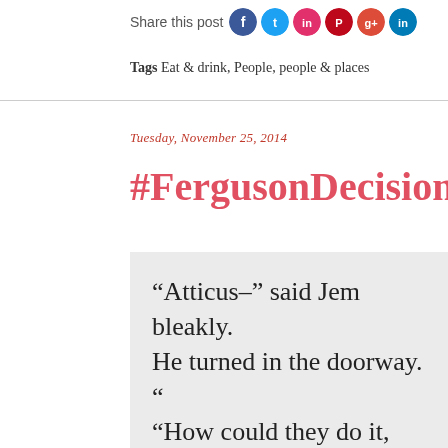Share this post
Tags Eat & drink, People, people & places
Tuesday, November 25, 2014
#FergusonDecision
“Atticus–” said Jem bleakly. He turned in the doorway. “How could they do it, how could they “I don’t know, but they did it before and they did it tonight–